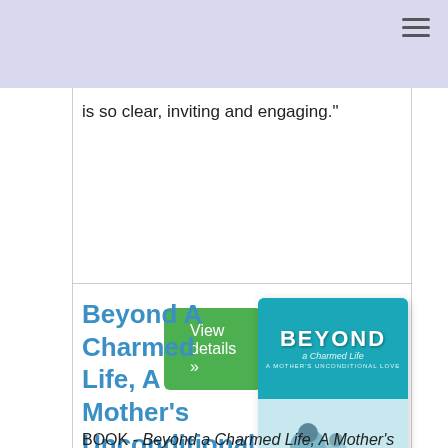is so clear, inviting and engaging."
View details »
Beyond A Charmed Life, A Mother's Unconditional Love
[Figure (photo): Book cover of 'Beyond a Charmed Life, A Mother's Unconditional Love' showing a mother and child in water]
BOOK - Beyond a Charmed Life, A Mother's Unconditional Love is an inspirational memoir about a mother's love for her special needs son with heartfelt stories and a triumphant spirit of overcoming insurmountable challenges. From caretaker to advocate role, author Barbara Huntress Tresness wants to share "you